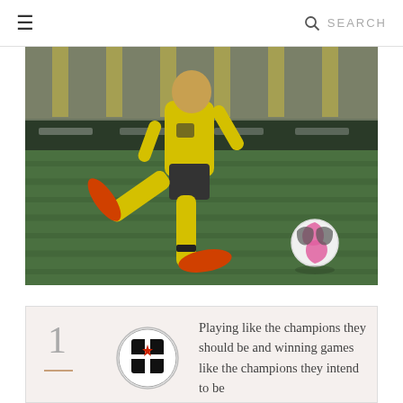≡  🔍 SEARCH
[Figure (photo): A football player in a yellow kit kicking a ball on a grass pitch, with stadium advertising boards in the background.]
1
[Figure (logo): Al Jazira Club circular logo with a black and white crest]
Playing like the champions they should be and winning games like the champions they intend to be